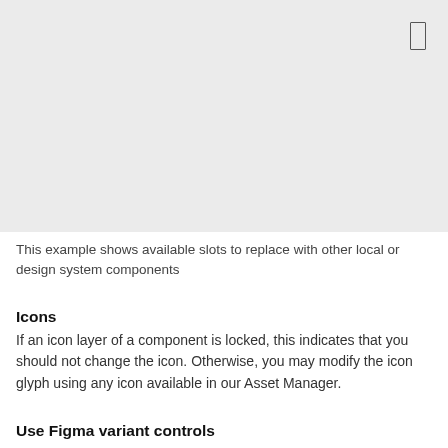[Figure (screenshot): Large light gray placeholder box with a small rectangle icon outline in the upper right corner, representing available slots for components.]
This example shows available slots to replace with other local or design system components
Icons
If an icon layer of a component is locked, this indicates that you should not change the icon. Otherwise, you may modify the icon glyph using any icon available in our Asset Manager.
Use Figma variant controls